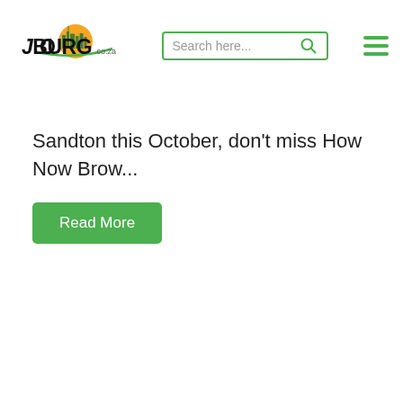[Figure (logo): Joburg.co.za logo with city skyline and orange sun graphic]
Sandton this October, don't miss How Now Brow...
Read More